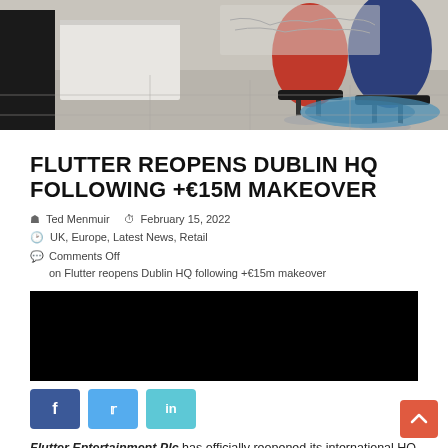[Figure (photo): Office interior with red and blue chairs on a colorful rug, white desk/counter, concrete floor, and world map wall decor in background]
FLUTTER REOPENS DUBLIN HQ FOLLOWING +€15M MAKEOVER
Ted Menmuir  February 15, 2022
UK, Europe, Latest News, Retail
Comments Off
on Flutter reopens Dublin HQ following +€15m makeover
[Figure (photo): Black redacted/blacked-out image block]
Flutter Entertainment Plc has officially reopened its international HQ in Dublin following a €15.5 million investment to develop a state-of-art office to house its growing international workforce.